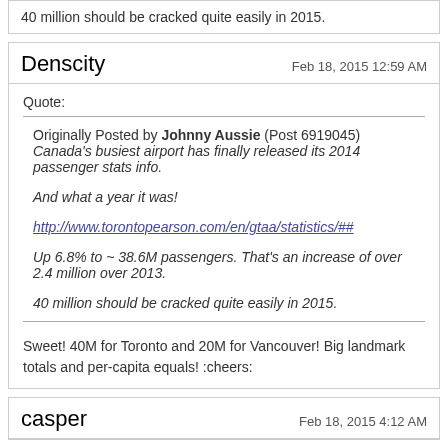40 million should be cracked quite easily in 2015.
Denscity
Feb 18, 2015 12:59 AM
Quote:
Originally Posted by Johnny Aussie (Post 6919045)
Canada's busiest airport has finally released its 2014 passenger stats info.

And what a year it was!

http://www.torontopearson.com/en/gtaa/statistics/##

Up 6.8% to ~ 38.6M passengers. That's an increase of over 2.4 million over 2013.

40 million should be cracked quite easily in 2015.
Sweet! 40M for Toronto and 20M for Vancouver! Big landmark totals and per-capita equals! :cheers:
casper
Feb 18, 2015 4:12 AM